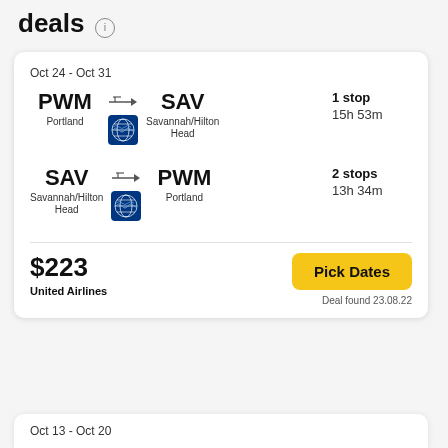deals
Oct 24 - Oct 31
PWM Portland → SAV Savannah/Hilton Head | 1 stop 15h 53m
SAV Savannah/Hilton Head → PWM Portland | 2 stops 13h 34m
$223
United Airlines
Pick Dates
Deal found 23.08.22
Oct 13 - Oct 20